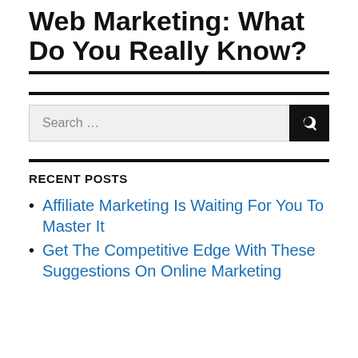Web Marketing: What Do You Really Know?
RECENT POSTS
Affiliate Marketing Is Waiting For You To Master It
Get The Competitive Edge With These Suggestions On Online Marketing